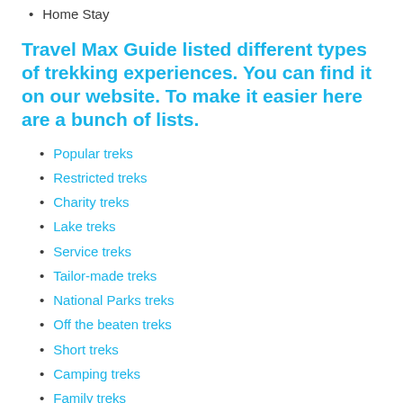Home Stay
Travel Max Guide listed different types of trekking experiences. You can find it on our website. To make it easier here are a bunch of lists.
Popular treks
Restricted treks
Charity treks
Lake treks
Service treks
Tailor-made treks
National Parks treks
Off the beaten treks
Short treks
Camping treks
Family treks
Luxury treks
Medical treks
Teahouse treks